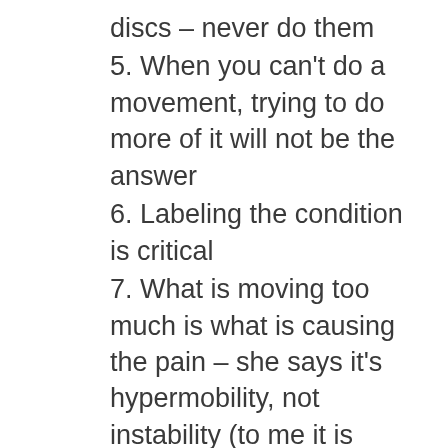discs – never do them
5. When you can't do a movement, trying to do more of it will not be the answer
6. Labeling the condition is critical
7. What is moving too much is what is causing the pain – she says it's hypermobility, not instability (to me it is when a stable joint becomes mobile)
8. The body follows physics – how many people can go back to high